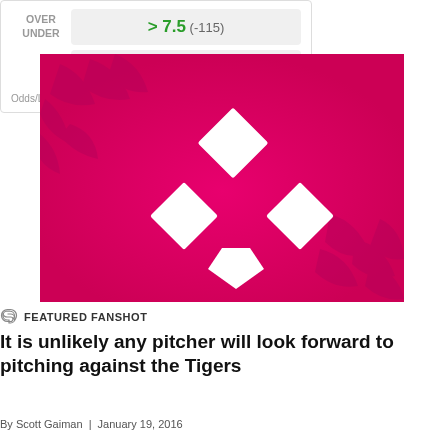| OVER UNDER | > 7.5 (-115) |
|  | < 7.5 (-105) |
Odds/Lines subject to change. See draftkings.com for details.
[Figure (illustration): Pink/magenta baseball field diamond graphic with white base diamond shapes and decorative stitching patterns in corners on a hot pink gradient background.]
FEATURED FANSHOT
It is unlikely any pitcher will look forward to pitching against the Tigers
By Scott Gaiman | January 19, 2016